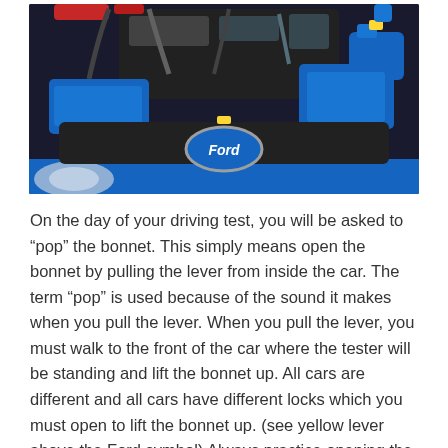[Figure (photo): Photo of a Ford car engine bay viewed from above with the bonnet open. The engine features blue covers, a yellow lever visible above the Ford oval logo on the black front bumper. The car is bright blue.]
On the day of your driving test, you will be asked to “pop” the bonnet. This simply means open the bonnet by pulling the lever from inside the car. The term “pop” is used because of the sound it makes when you pull the lever. When you pull the lever, you must walk to the front of the car where the tester will be standing and lift the bonnet up. All cars are different and all cars have different locks which you must open to lift the bonnet up. (see yellow lever above the Ford symbol) Always practice opening the bonnet before your test.